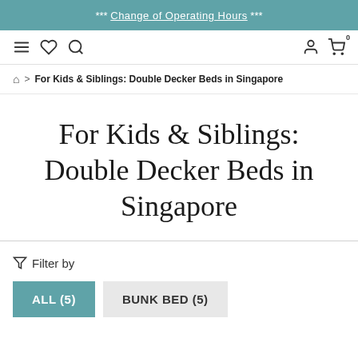*** Change of Operating Hours ***
For Kids & Siblings: Double Decker Beds in Singapore
For Kids & Siblings: Double Decker Beds in Singapore
For Kids & Siblings: Double Decker Beds in Singapore
Filter by
ALL (5)  BUNK BED (5)